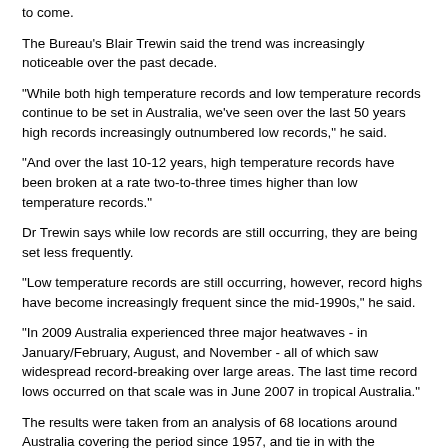to come.
The Bureau's Blair Trewin said the trend was increasingly noticeable over the past decade.
"While both high temperature records and low temperature records continue to be set in Australia, we've seen over the last 50 years high records increasingly outnumbered low records," he said.
"And over the last 10-12 years, high temperature records have been broken at a rate two-to-three times higher than low temperature records."
Dr Trewin says while low records are still occurring, they are being set less frequently.
"Low temperature records are still occurring, however, record highs have become increasingly frequent since the mid-1990s," he said.
"In 2009 Australia experienced three major heatwaves - in January/February, August, and November - all of which saw widespread record-breaking over large areas. The last time record lows occurred on that scale was in June 2007 in tropical Australia."
The results were taken from an analysis of 68 locations around Australia covering the period since 1957, and tie in with the warming trend of 0.1-0.2 degrees Celsius per decade over the same period.
The figures also come after Australia experienced its hottest decade since records began in 1910.